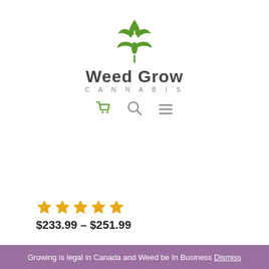[Figure (logo): Weed Grow Cannabis logo with green cannabis leaf icon above the text 'Weed Grow' and 'CANNABIS', plus cart, search, and hamburger menu icons below]
★★★★★
$233.99 – $251.99
Growing is legal in Canada and Weed be In Business Dismiss